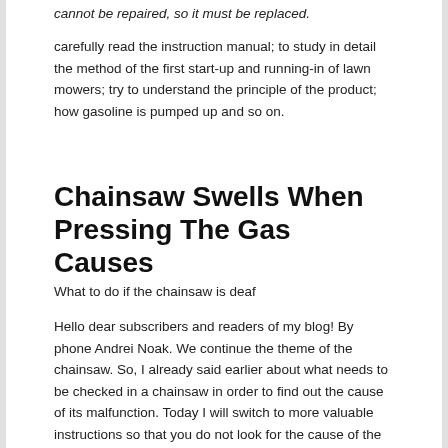cannot be repaired, so it must be replaced.
carefully read the instruction manual; to study in detail the method of the first start-up and running-in of lawn mowers; try to understand the principle of the product; how gasoline is pumped up and so on.
Chainsaw Swells When Pressing The Gas Causes
What to do if the chainsaw is deaf
Hello dear subscribers and readers of my blog! By phone Andrei Noak. We continue the theme of the chainsaw. So, I already said earlier about what needs to be checked in a chainsaw in order to find out the cause of its malfunction. Today I will switch to more valuable instructions so that you do not look for the cause of the problem for a long time and do not know how to solve it. Chainsaw, not the most complicated